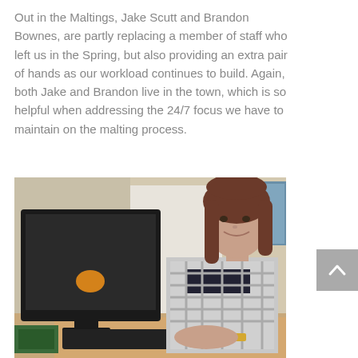Out in the Maltings, Jake Scutt and Brandon Bownes, are partly replacing a member of staff who left us in the Spring, but also providing an extra pair of hands as our workload continues to build. Again, both Jake and Brandon live in the town, which is so helpful when addressing the 24/7 focus we have to maintain on the malting process.
[Figure (photo): A woman with brown hair sitting at a desk, smiling, with a large computer monitor in front of her. She is wearing a black and white checkered top and a gold watch. Office environment with white walls and a window in the background.]